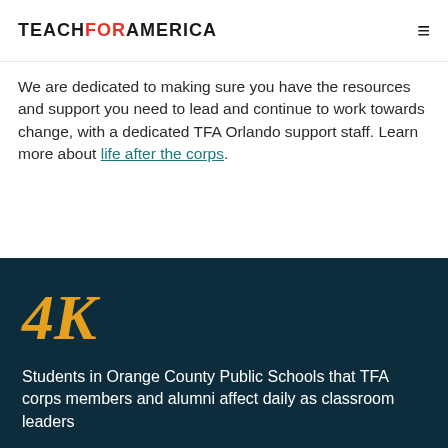TEACH FOR AMERICA
We are dedicated to making sure you have the resources and support you need to lead and continue to work towards change, with a dedicated TFA Orlando support staff. Learn more about life after the corps.
4K
Students in Orange County Public Schools that TFA corps members and alumni affect daily as classroom leaders